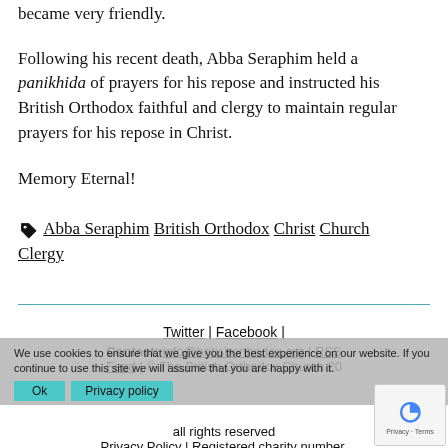became very friendly.
Following his recent death, Abba Seraphim held a panikhida of prayers for his repose and instructed his British Orthodox faithful and clergy to maintain regular prayers for his repose in Christ.
Memory Eternal!
Abba Seraphim  British Orthodox  Christ  Church  Clergy
Twitter | Facebook | Contact: info@britishorthodox.org | RSS Feed | © The British Orthodox Church 20... all rights reserved | Privacy Policy | Registered charity number.